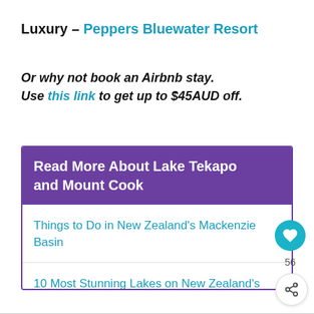Luxury – Peppers Bluewater Resort
Or why not book an Airbnb stay. Use this link to get up to $45AUD off.
Read More About Lake Tekapo and Mount Cook
Things to Do in New Zealand's Mackenzie Basin
10 Most Stunning Lakes on New Zealand's South Island